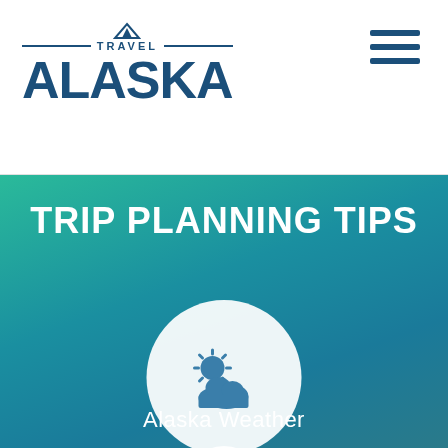[Figure (logo): Travel Alaska logo with mountain icon, horizontal lines, TRAVEL text and large ALASKA wordmark in dark blue]
[Figure (infographic): Hamburger menu icon with three dark blue horizontal lines, top-right of header]
TRIP PLANNING TIPS
[Figure (illustration): White circle icon containing a sun partially behind a cloud, rendered in steel blue, on teal/aqua gradient background]
Alaska Weather